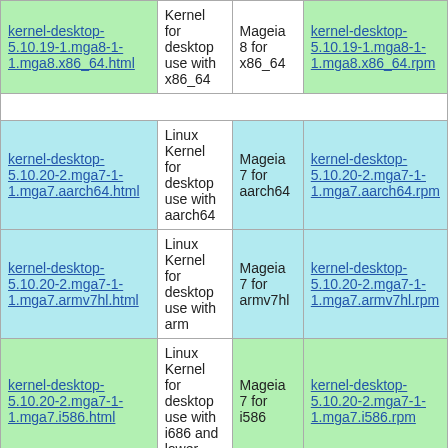| Link | Description | Platform | RPM Link |
| --- | --- | --- | --- |
| kernel-desktop-5.10.19-1.mga8-1-1.mga8.x86_64.html | Kernel for desktop use with x86_64 | Mageia 8 for x86_64 | kernel-desktop-5.10.19-1.mga8-1-1.mga8.x86_64.rpm |
| kernel-desktop-5.10.20-2.mga7-1-1.mga7.aarch64.html | Linux Kernel for desktop use with aarch64 | Mageia 7 for aarch64 | kernel-desktop-5.10.20-2.mga7-1-1.mga7.aarch64.rpm |
| kernel-desktop-5.10.20-2.mga7-1-1.mga7.armv7hl.html | Linux Kernel for desktop use with arm | Mageia 7 for armv7hl | kernel-desktop-5.10.20-2.mga7-1-1.mga7.armv7hl.rpm |
| kernel-desktop-5.10.20-2.mga7-1-1.mga7.i586.html | Linux Kernel for desktop use with i686 and lower | Mageia 7 for i586 | kernel-desktop-5.10.20-2.mga7-1-1.mga7.i586.rpm |